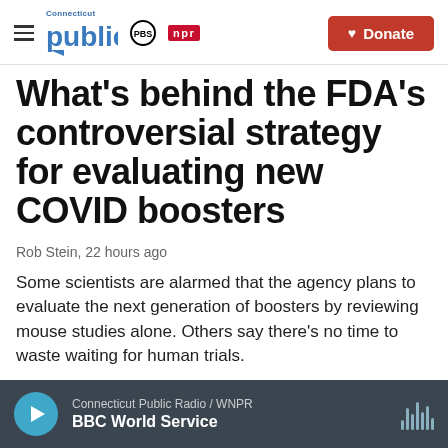Connecticut Public / PBS / NPR — Donate
What's behind the FDA's controversial strategy for evaluating new COVID boosters
Rob Stein,  22 hours ago
Some scientists are alarmed that the agency plans to evaluate the next generation of boosters by reviewing mouse studies alone. Others say there's no time to waste waiting for human trials.
LISTEN • 3:34
Connecticut Public Radio / WNPR — BBC World Service